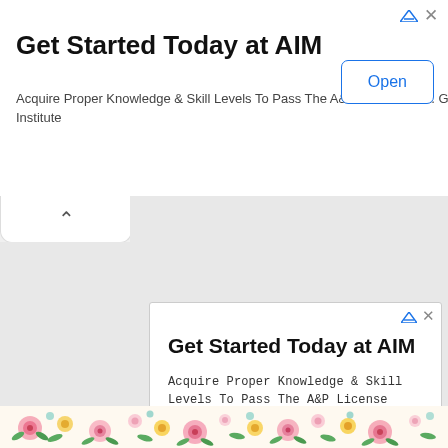[Figure (screenshot): Top banner advertisement for AIM Institute with title 'Get Started Today at AIM', description text, and Open button]
Get Started Today at AIM
Acquire Proper Knowledge & Skill Levels To Pass The A&P License Test. Get More Info Today. AIM Institute
[Figure (screenshot): Collapse/chevron up button bar below top banner]
[Figure (screenshot): Expanded advertisement card for AIM Institute with large title, body text, institution name, and Open button]
Get Started Today at AIM
Acquire Proper Knowledge & Skill Levels To Pass The A&P License Test. Get More Info Today.
AIM Institute
[Figure (illustration): Floral decorative strip at bottom of page with pink roses, yellow flowers, and green leaves]